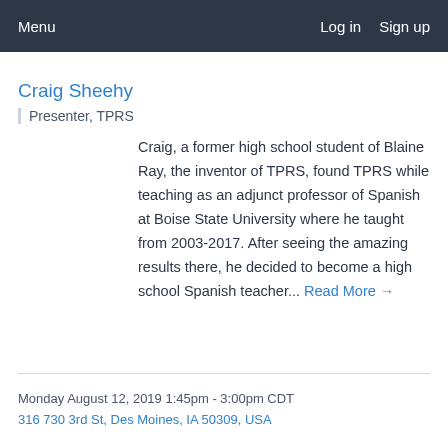Menu  Log in  Sign up
Craig Sheehy
Presenter, TPRS
Craig, a former high school student of Blaine Ray, the inventor of TPRS, found TPRS while teaching as an adjunct professor of Spanish at Boise State University where he taught from 2003-2017. After seeing the amazing results there, he decided to become a high school Spanish teacher... Read More →
Monday August 12, 2019 1:45pm - 3:00pm CDT
316 730 3rd St, Des Moines, IA 50309, USA